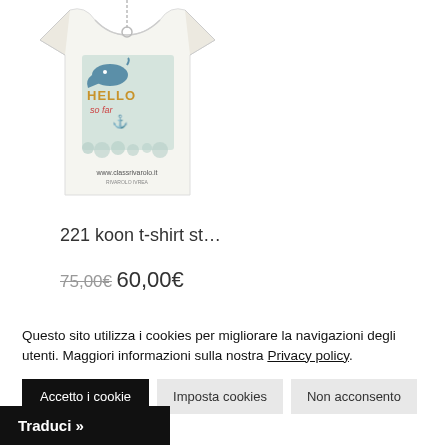[Figure (photo): White t-shirt with whale/nautical graphic print showing 'HELLO' text, anchor, and whale illustration. Website URL www.classrivarolo.it printed at bottom of shirt.]
221 koon t-shirt st…
75,00€  60,00€
Questo sito utilizza i cookies per migliorare la navigazioni degli utenti. Maggiori informazioni sulla nostra Privacy policy.
Accetto i cookie
Imposta cookies
Non acconsento
Traduci »